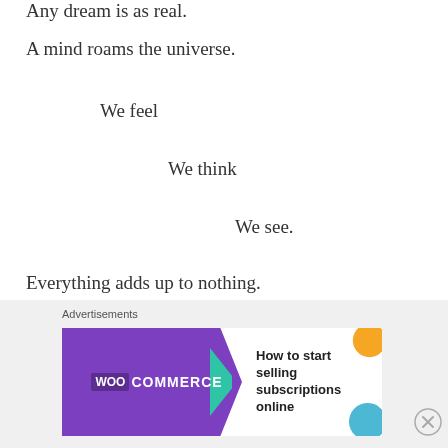Any dream is as real.
A mind roams the universe.
We feel
We think
We see.
Everything adds up to nothing.
Nothing contains it all.
We wonder
[Figure (other): WooCommerce advertisement banner: 'How to start selling subscriptions online' with purple WooCommerce logo on the left and decorative orange and blue shapes on the right.]